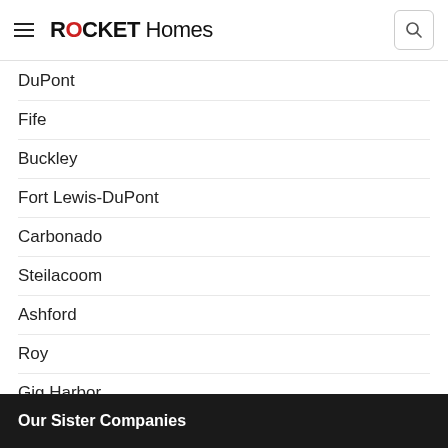ROCKET Homes
DuPont
Fife
Buckley
Fort Lewis-DuPont
Carbonado
Steilacoom
Ashford
Roy
Gig Harbor
Anderson Island
Our Sister Companies